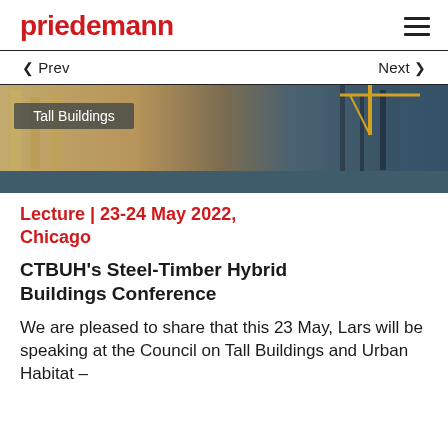priedemann
< Prev    Next >
[Figure (photo): Construction site photo showing tall timber and steel building structure with cranes, overlaid with tag 'Tall Buildings' on a dark teal banner at the bottom.]
Lecture | 23-24 May 2022, Chicago
CTBUH's Steel-Timber Hybrid Buildings Conference
We are pleased to share that this 23 May, Lars will be speaking at the Council on Tall Buildings and Urban Habitat –